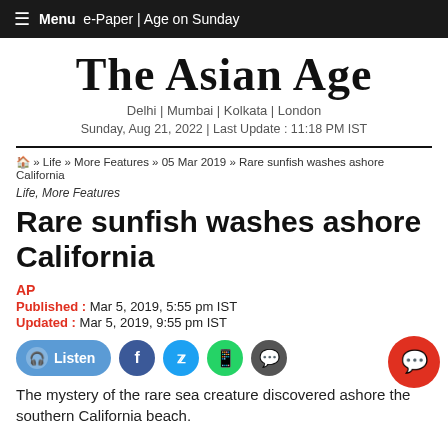≡ Menu  e-Paper | Age on Sunday
The Asian Age
Delhi | Mumbai | Kolkata | London
Sunday, Aug 21, 2022 | Last Update : 11:18 PM IST
🏠 » Life » More Features » 05 Mar 2019 » Rare sunfish washes ashore California
Life, More Features
Rare sunfish washes ashore California
AP
Published : Mar 5, 2019, 5:55 pm IST
Updated : Mar 5, 2019, 9:55 pm IST
The mystery of the rare sea creature discovered ashore the southern California beach.